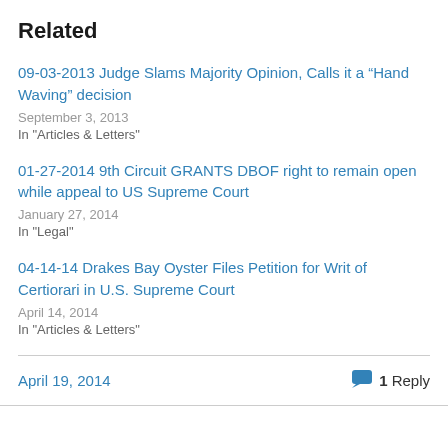Related
09-03-2013 Judge Slams Majority Opinion, Calls it a “Hand Waving” decision
September 3, 2013
In "Articles & Letters"
01-27-2014 9th Circuit GRANTS DBOF right to remain open while appeal to US Supreme Court
January 27, 2014
In "Legal"
04-14-14 Drakes Bay Oyster Files Petition for Writ of Certiorari in U.S. Supreme Court
April 14, 2014
In "Articles & Letters"
April 19, 2014
1 Reply